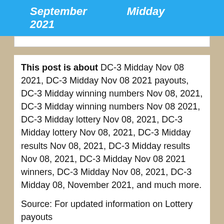September 2021   Midday
This post is about DC-3 Midday Nov 08 2021, DC-3 Midday Nov 08 2021 payouts, DC-3 Midday winning numbers Nov 08, 2021, DC-3 Midday winning numbers Nov 08 2021, DC-3 Midday lottery Nov 08, 2021, DC-3 Midday lottery Nov 08, 2021, DC-3 Midday results Nov 08, 2021, DC-3 Midday results Nov 08, 2021, DC-3 Midday Nov 08 2021 winners, DC-3 Midday Nov 08, 2021, DC-3 Midday 08, November 2021, and much more.
Source: For updated information on Lottery payouts